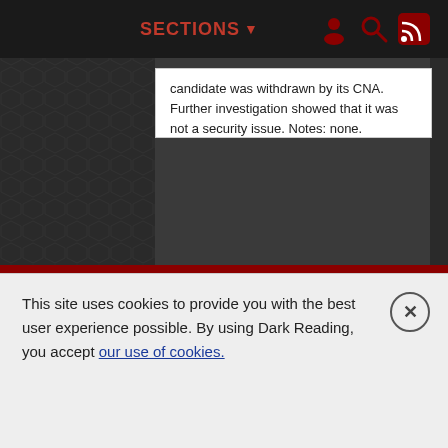SECTIONS ▼
candidate was withdrawn by its CNA. Further investigation showed that it was not a security issue. Notes: none.
CVE-2021-3917
PUBLISHED: 2022-08-23
A flaw was found in the coreos-installer, where it writes the Ignition config to the target system with world-readable access permissions. This flaw allows a local attacker to have read access to potentially sensitive data. The highest threat from this vulnerability is to confidentiality.
Discover More From Informa Tech
This site uses cookies to provide you with the best user experience possible. By using Dark Reading, you accept our use of cookies.